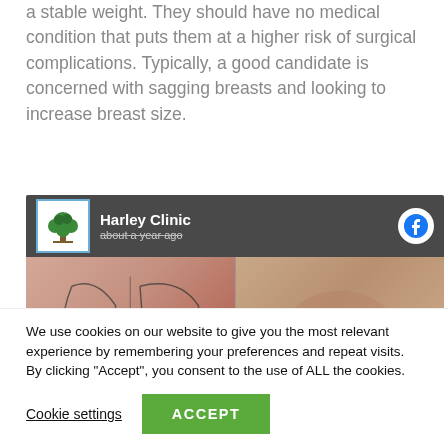a stable weight. They should have no medical condition that puts them at a higher risk of surgical complications. Typically, a good candidate is concerned with sagging breasts and looking to increase breast size.
[Figure (screenshot): A Facebook post from Harley Clinic showing before-and-after medical images of a breast procedure. The left image shows pre-operative markings and the right shows a post-operative result.]
We use cookies on our website to give you the most relevant experience by remembering your preferences and repeat visits. By clicking "Accept", you consent to the use of ALL the cookies.